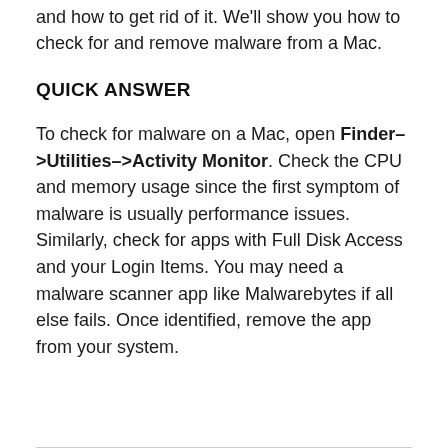and how to get rid of it. We'll show you how to check for and remove malware from a Mac.
QUICK ANSWER
To check for malware on a Mac, open Finder–>Utilities–>Activity Monitor. Check the CPU and memory usage since the first symptom of malware is usually performance issues. Similarly, check for apps with Full Disk Access and your Login Items. You may need a malware scanner app like Malwarebytes if all else fails. Once identified, remove the app from your system.